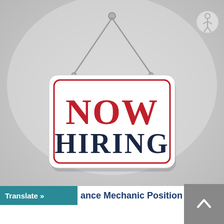[Figure (illustration): A 'NOW HIRING' hanging sign illustration. White rectangular sign with rounded corners and a red border, hanging by two strings from a metallic hook at the top. The word 'NOW' is displayed in large red serif bold text and 'HIRING' in large dark navy/charcoal bold text beneath it. The sign hangs against a light gray gradient background. A circular accessibility icon is visible in the top-right corner.]
Translate »
ance Mechanic Position